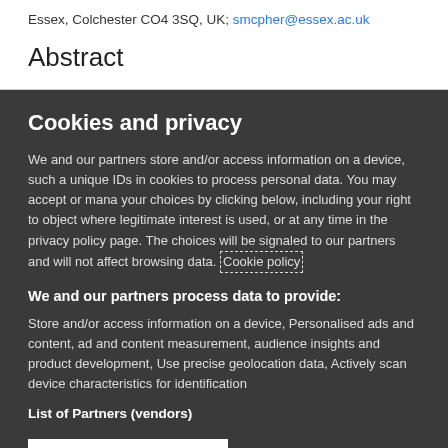Essex, Colchester CO4 3SQ, UK; smcpher@essex.ac.uk
Abstract
Cookies and privacy
We and our partners store and/or access information on a device, such as unique IDs in cookies to process personal data. You may accept or manage your choices by clicking below, including your right to object where legitimate interest is used, or at any time in the privacy policy page. These choices will be signaled to our partners and will not affect browsing data. Cookie policy
We and our partners process data to provide:
Store and/or access information on a device, Personalised ads and content, ad and content measurement, audience insights and product development, Use precise geolocation data, Actively scan device characteristics for identification
List of Partners (vendors)
I Accept